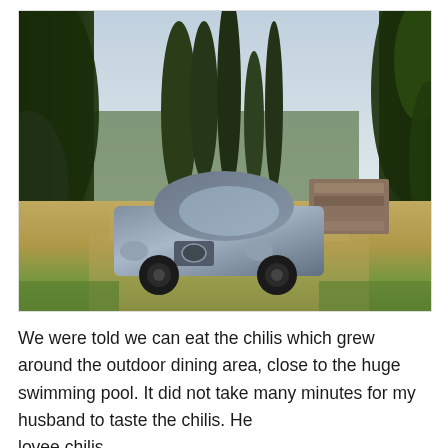[Figure (photo): Outdoor photo showing an Alfa Romeo car parked on a gravel driveway surrounded by tall cypress trees and lush greenery. A stone wall is visible on the right side. The scene appears to be at a Tuscan villa or estate on a sunny day.]
We were told we can eat the chilis which grew around the outdoor dining area, close to the huge swimming pool. It did not take many minutes for my husband to taste the chilis. He lovee chilis...